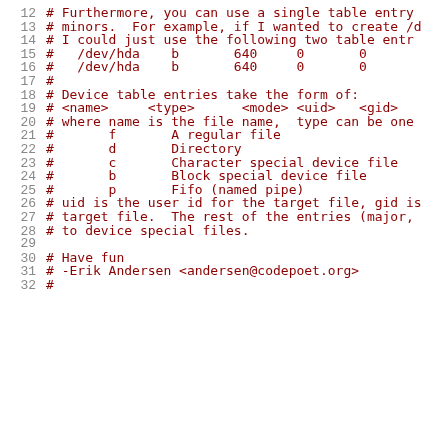12  # Furthermore, you can use a single table entry
13  # minors.  For example, if I wanted to create /d
14  # I could just use the following two table entr
15  #   /dev/hda    b       640     0       0
16  #   /dev/hda    b       640     0       0
17  #
18  # Device table entries take the form of:
19  # <name>     <type>      <mode> <uid>   <gid>
20  # where name is the file name,  type can be one
21  #       f       A regular file
22  #       d       Directory
23  #       c       Character special device file
24  #       b       Block special device file
25  #       p       Fifo (named pipe)
26  # uid is the user id for the target file, gid is
27  # target file.  The rest of the entries (major,
28  # to device special files.
29
30  # Have fun
31  # -Erik Andersen <andersen@codepoet.org>
32  #